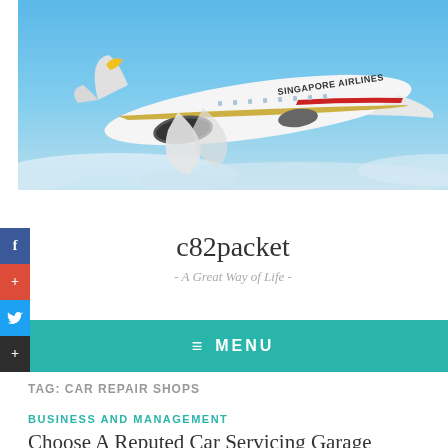[Figure (photo): Singapore Airlines aircraft (white with gold livery) flying in blue sky with clouds below]
c82packet
- A Great Way of Life -
≡ MENU
TAG: CAR REPAIR SHOPS
BUSINESS AND MANAGEMENT
Choose A Reputed Car Servicing Garage